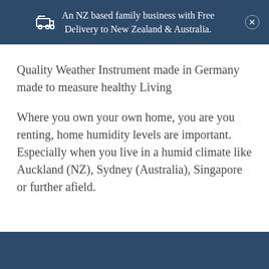An NZ based family business with Free Delivery to New Zealand & Australia.
Quality Weather Instrument made in Germany made to measure healthy Living
Where you own your own home, you are you renting, home humidity levels are important. Especially when you live in a humid climate like Auckland (NZ), Sydney (Australia), Singapore or further afield.